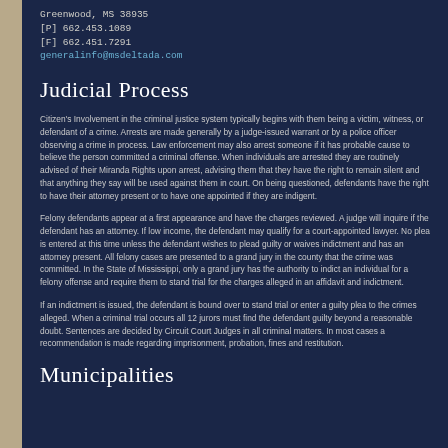Greenwood, MS 38935
[P] 662.453.1089
[F] 662.451.7291
generalinfo@msdeltada.com
Judicial Process
Citizen's Involvement in the criminal justice system typically begins with them being a victim, witness, or defendant of a crime. Arrests are made generally by a judge-issued warrant or by a police officer observing a crime in process. Law enforcement may also arrest someone if it has probable cause to believe the person committed a criminal offense. When individuals are arrested they are routinely advised of their Miranda Rights upon arrest, advising them that they have the right to remain silent and that anything they say will be used against them in court. On being questioned, defendants have the right to have their attorney present or to have one appointed if they are indigent.
Felony defendants appear at a first appearance and have the charges reviewed. A judge will inquire if the defendant has an attorney. If low income, the defendant may qualify for a court-appointed lawyer. No plea is entered at this time unless the defendant wishes to plead guilty or waives indictment and has an attorney present. All felony cases are presented to a grand jury in the county that the crime was committed. In the State of Mississippi, only a grand jury has the authority to indict an individual for a felony offense and require them to stand trial for the charges alleged in an affidavit and indictment.
If an indictment is issued, the defendant is bound over to stand trial or enter a guilty plea to the crimes alleged. When a criminal trial occurs all 12 jurors must find the defendant guilty beyond a reasonable doubt. Sentences are decided by Circuit Court Judges in all criminal matters. In most cases a recommendation is made regarding imprisonment, probation, fines and restitution.
Municipalities